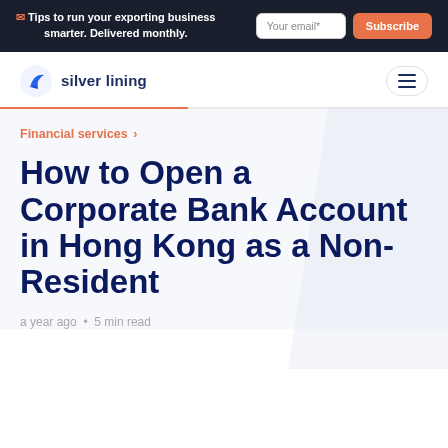✉ Tips to run your exporting business smarter. Delivered monthly. | Your email* | Subscribe
[Figure (logo): Silver Lining logo with a blue leaf/arrow icon and text 'silver lining']
Financial services >
How to Open a Corporate Bank Account in Hong Kong as a Non-Resident
a year ago • 5 min read